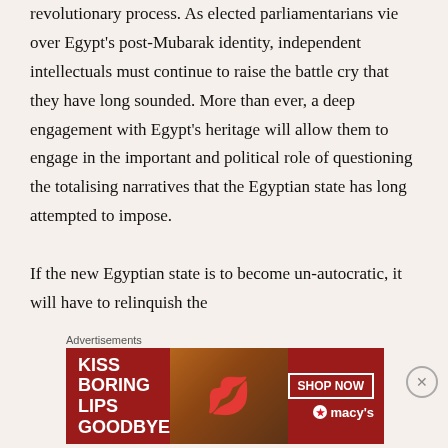revolutionary process. As elected parliamentarians vie over Egypt's post-Mubarak identity, independent intellectuals must continue to raise the battle cry that they have long sounded. More than ever, a deep engagement with Egypt's heritage will allow them to engage in the important and political role of questioning the totalising narratives that the Egyptian state has long attempted to impose.

If the new Egyptian state is to become un-autocratic, it will have to relinquish the
Advertisements
[Figure (other): Advertisement banner for Macy's with text 'KISS BORING LIPS GOODBYE' and 'SHOP NOW' button with Macy's logo on a red background with a woman's face]